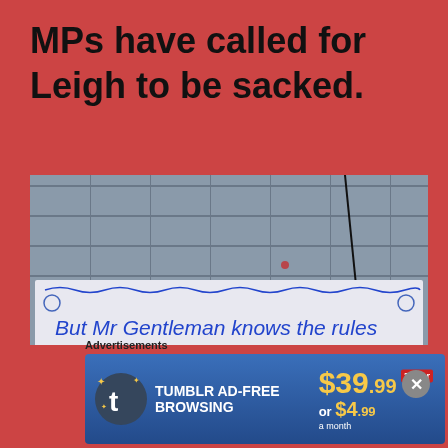MPs have called for Leigh to be sacked.
[Figure (photo): Photo of a handwritten sign taped to a tiled building exterior. The sign reads: 'But Mr Gentleman knows the rules And the Curtin community are not fooled']
Advertisements
[Figure (other): Tumblr Ad-Free Browsing advertisement banner: $39.99 3 year or $4.99 a month]